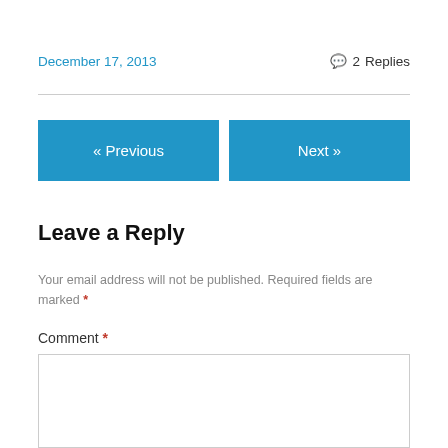December 17, 2013
💬 2 Replies
« Previous
Next »
Leave a Reply
Your email address will not be published. Required fields are marked *
Comment *